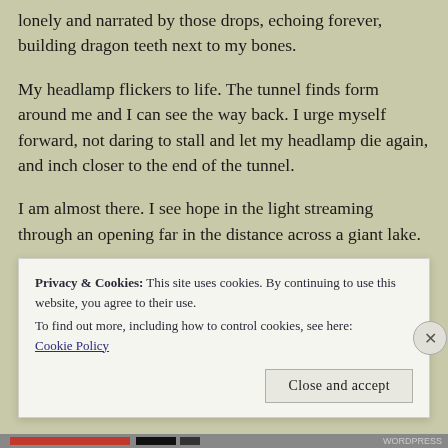lonely and narrated by those drops, echoing forever, building dragon teeth next to my bones.
My headlamp flickers to life. The tunnel finds form around me and I can see the way back. I urge myself forward, not daring to stall and let my headlamp die again, and inch closer to the end of the tunnel.
I am almost there. I see hope in the light streaming through an opening far in the distance across a giant lake.
Privacy & Cookies: This site uses cookies. By continuing to use this website, you agree to their use.
To find out more, including how to control cookies, see here: Cookie Policy
Close and accept